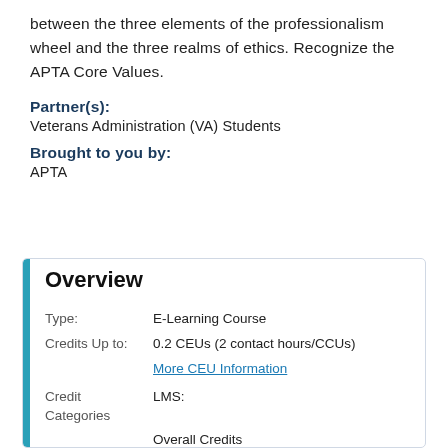between the three elements of the professionalism wheel and the three realms of ethics. Recognize the APTA Core Values.
Partner(s):
Veterans Administration (VA) Students
Brought to you by:
APTA
Overview
| Field | Value |
| --- | --- |
| Type: | E-Learning Course |
| Credits Up to: | 0.2 CEUs (2 contact hours/CCUs) |
|  | More CEU Information |
| Credit Categories | LMS: |
|  | Overall Credits |
|  | 0.2 |